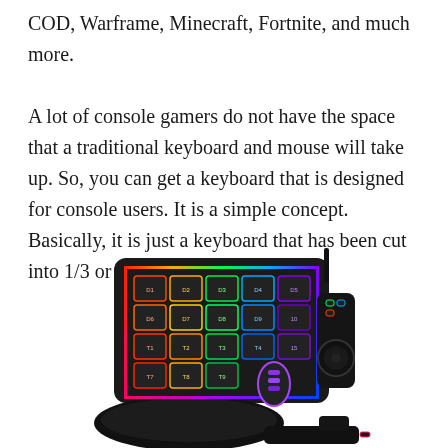COD, Warframe, Minecraft, Fortnite, and much more.

A lot of console gamers do not have the space that a traditional keyboard and mouse will take up. So, you can get a keyboard that is designed for console users. It is a simple concept. Basically, it is just a keyboard that has been cut into 1/3 or in half.
[Figure (photo): A compact RGB gaming keypad/keyboard designed for console users, showing backlit colored keys (red, orange, yellow, green, blue, purple) arranged in a grid layout with a wrist rest and a side scroll wheel/dial attachment, connected by a cable.]